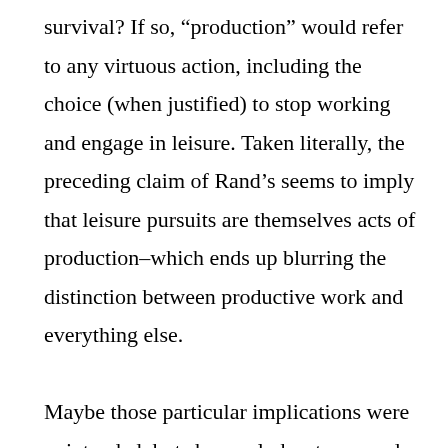survival? If so, “production” would refer to any virtuous action, including the choice (when justified) to stop working and engage in leisure. Taken literally, the preceding claim of Rand’s seems to imply that leisure pursuits are themselves acts of production–which ends up blurring the distinction between productive work and everything else.

Maybe those particular implications were unintended, but she surely has to concede that a person’s struggle with a